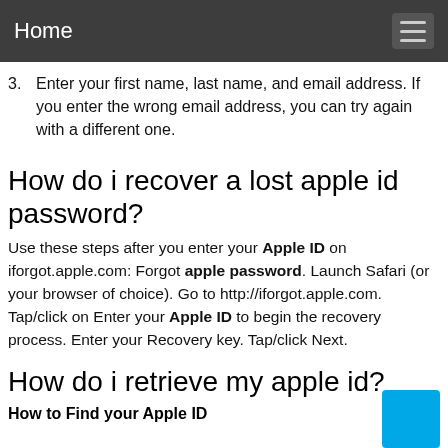Home
3. Enter your first name, last name, and email address. If you enter the wrong email address, you can try again with a different one.
How do i recover a lost apple id password?
Use these steps after you enter your Apple ID on iforgot.apple.com: Forgot apple password. Launch Safari (or your browser of choice). Go to http://iforgot.apple.com. Tap/click on Enter your Apple ID to begin the recovery process. Enter your Recovery key. Tap/click Next.
How do i retrieve my apple id?
How to Find your Apple ID